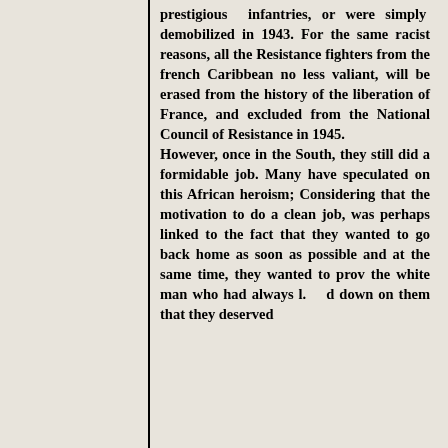prestigious infantries, or were simply demobilized in 1943. For the same racist reasons, all the Resistance fighters from the french Caribbean no less valiant, will be erased from the history of the liberation of France, and excluded from the National Council of Resistance in 1945. However, once in the South, they still did a formidable job. Many have speculated on this African heroism; Considering that the motivation to do a clean job, was perhaps linked to the fact that they wanted to go back home as soon as possible and at the same time, they wanted to prov the white man who had always l.    d down on them that they deserved